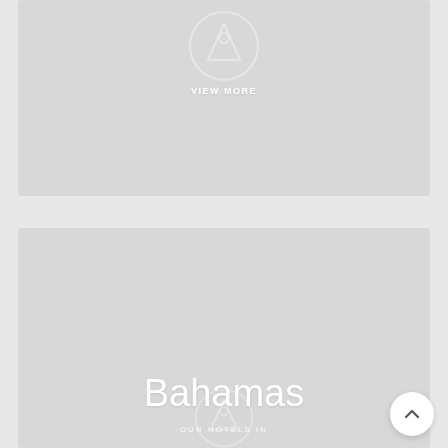[Figure (illustration): Top card with a circular logo/icon and 'VIEW MORE' text overlaid on a light grey placeholder image area]
[Figure (illustration): Bottom card showing 'OUR HOTELS IN' text above large 'Bahamas' text with a circular logo/icon, on a light grey placeholder image area. A white circular back-to-top arrow button appears in the bottom-right corner.]